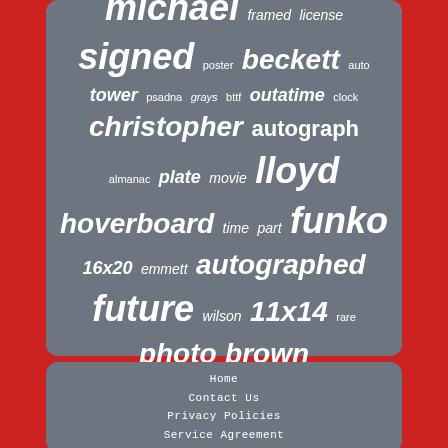[Figure (infographic): Tag cloud with words related to Back to the Future memorabilia: michael, framed, license, signed, poster, beckett, auto, tower, psadna, grays, bttf, outatime, clock, christopher, autograph, almanac, plate, movie, lloyd, hoverboard, time, part, funko, 16x20, emmett, autographed, future, wilson, 11x14, rare, photo, brown]
Home
Contact Us
Privacy Policies
Service Agreement